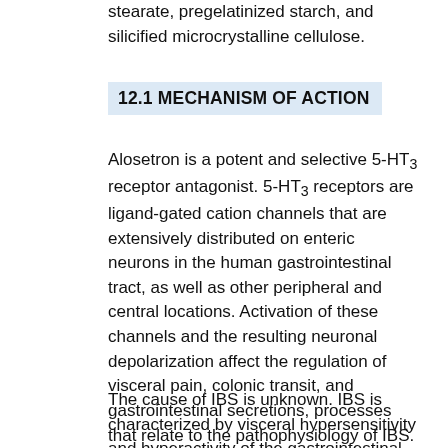stearate, pregelatinized starch, and silicified microcrystalline cellulose.
12.1 MECHANISM OF ACTION
Alosetron is a potent and selective 5-HT3 receptor antagonist. 5-HT3 receptors are ligand-gated cation channels that are extensively distributed on enteric neurons in the human gastrointestinal tract, as well as other peripheral and central locations. Activation of these channels and the resulting neuronal depolarization affect the regulation of visceral pain, colonic transit, and gastrointestinal secretions, processes that relate to the pathophysiology of IBS. 5-HT3 receptor antagonists such as alosetron inhibit activation of non-selective cation channels, which results in the modulation of the enteric nervous system.
The cause of IBS is unknown. IBS is characterized by visceral hypersensitivity and hyperactivity of the gastrointestinal tract, which lead to abnormal sensations of pain and motor activity. Following distention of the